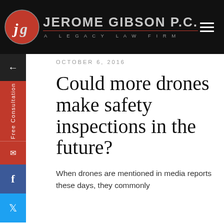JEROME GIBSON P.C. — A LEGACY LAW FIRM
OCTOBER 6, 2016
Could more drones make safety inspections in the future?
When drones are mentioned in media reports these days, they commonly